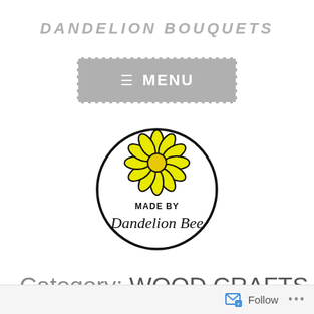DANDELION BOUQUETS
[Figure (other): Gray rounded rectangle button with dashed white border, hamburger menu icon and text MENU in white]
[Figure (logo): Circular logo with a yellow daisy flower at top and text MADE BY Dandelion Bee inside the circle]
Category: WOOD CRAFTS
Follow ...